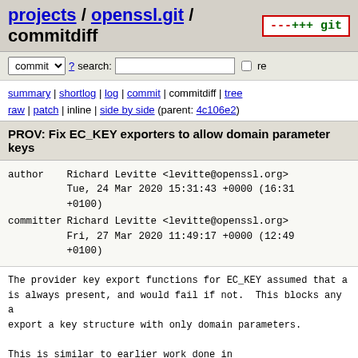projects / openssl.git / commitdiff
commit ? search: re
summary | shortlog | log | commit | commitdiff | tree raw | patch | inline | side by side (parent: 4c106e2)
PROV: Fix EC_KEY exporters to allow domain parameter keys
| author | Richard Levitte <levitte@openssl.org> | Tue, 24 Mar 2020 15:31:43 +0000 (16:31 +0100) |
| committer | Richard Levitte <levitte@openssl.org> | Fri, 27 Mar 2020 11:49:17 +0000 (12:49 +0100) |
The provider key export functions for EC_KEY assumed that a is always present, and would fail if not.  This blocks any a export a key structure with only domain parameters.

This is similar to earlier work done in EVP_PKEY_ASN1_METHOD

Reviewed-by: Shane Lontis <shane.lontis@oracle.com>
(Merged from https://github.com/openssl/openssl/pull/11394)
crypto/ec/ec_backend.c  patch | blob | history